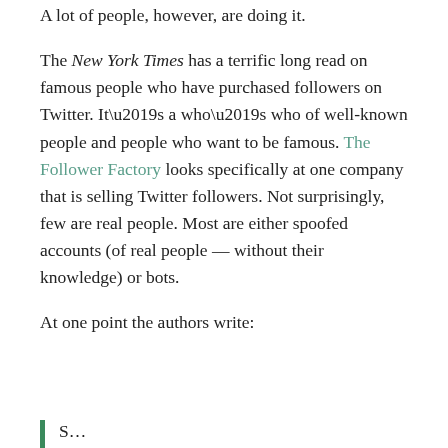A lot of people, however, are doing it.
The New York Times has a terrific long read on famous people who have purchased followers on Twitter. It’s a who’s who of well-known people and people who want to be famous. The Follower Factory looks specifically at one company that is selling Twitter followers. Not surprisingly, few are real people. Most are either spoofed accounts (of real people — without their knowledge) or bots.
At one point the authors write:
S…